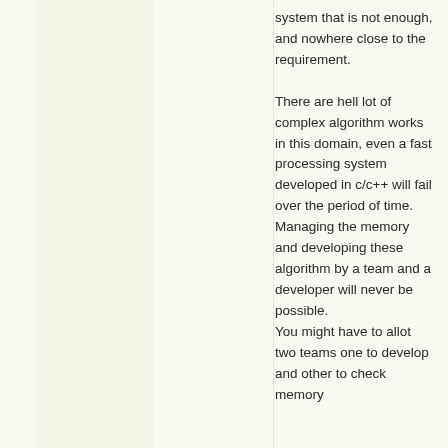system that is not enough, and nowhere close to the requirement.

There are hell lot of complex algorithm works in this domain, even a fast processing system developed in c/c++ will fail over the period of time. Managing the memory and developing these algorithm by a team and a developer will never be possible.
You might have to allot two teams one to develop and other to check memory